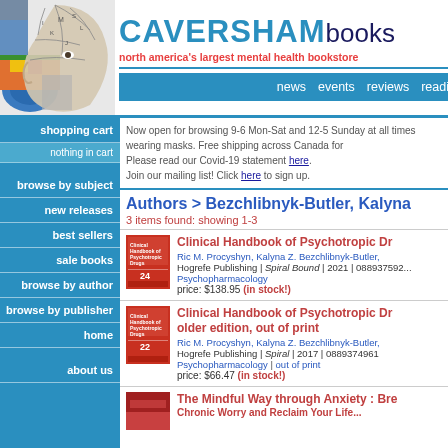[Figure (logo): Caversham Books logo with phrenology head collage image]
CAVERSHAMbooks — north america's largest mental health bookstore
Now open for browsing 9-6 Mon-Sat and 12-5 Sunday at all times wearing masks. Free shipping across Canada for orders. Please read our Covid-19 statement here. Join our mailing list! Click here to sign up.
Authors > Bezchlibnyk-Butler, Kalyna
3 items found: showing 1-3
Clinical Handbook of Psychotropic Drugs — Ric M. Procyshyn, Kalyna Z. Bezchlibnyk-Butler, — Hogrefe Publishing | Spiral Bound | 2021 | 0889375... — Psychopharmacology — price: $138.95 (in stock!)
Clinical Handbook of Psychotropic Drugs older edition, out of print — Ric M. Procyshyn, Kalyna Z. Bezchlibnyk-Butler, — Hogrefe Publishing | Spiral | 2017 | 0889374961 — Psychopharmacology | out of print — price: $66.47 (in stock!)
The Mindful Way through Anxiety : Break Free from Chronic Worry and Reclaim Your Life...